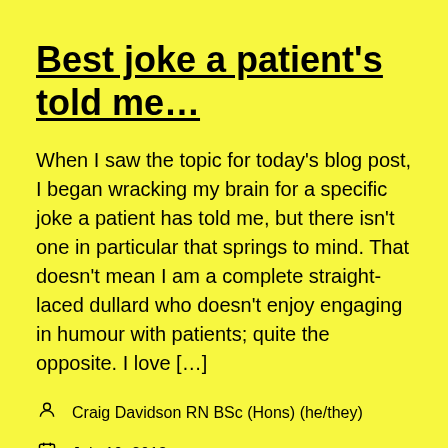Best joke a patient's told me…
When I saw the topic for today's blog post, I began wracking my brain for a specific joke a patient has told me, but there isn't one in particular that springs to mind. That doesn't mean I am a complete straight-laced dullard who doesn't enjoy engaging in humour with patients; quite the opposite. I love […]
Craig Davidson RN BSc (Hons) (he/they)
July 10, 2018
Nurse, Nursing, Nursing student, Reflection, Student nurse